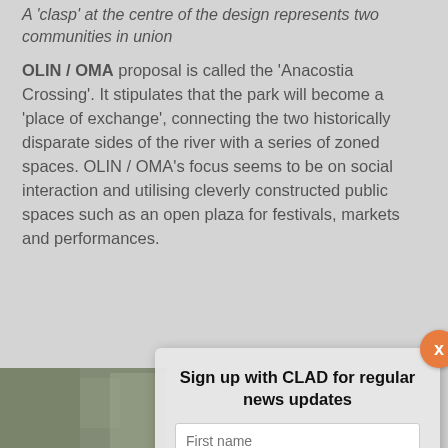A 'clasp' at the centre of the design represents two communities in union
OLIN / OMA proposal is called the 'Anacostia Crossing'. It stipulates that the park will become a 'place of exchange', connecting the two historically disparate sides of the river with a series of zoned spaces. OLIN / OMA's focus seems to be on social interaction and utilising cleverly constructed public spaces such as an open plaza for festivals, markets and performances.
[Figure (photo): Three stacked aerial/landscape photographs of the Anacostia park design]
Highlights from OLIN/OMA's plan include a café, viewing platforms and an educational centre
Stoss Landscape Urbanism / Höweler + Yoon architecture